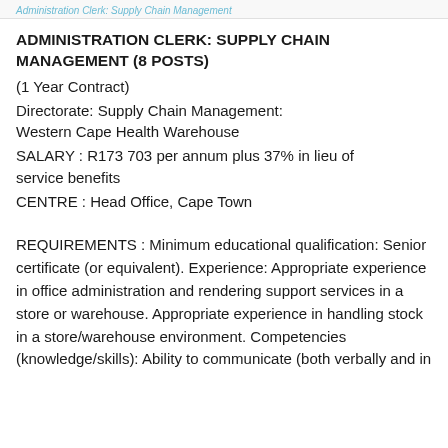Administration Clerk: Supply Chain Management
ADMINISTRATION CLERK: SUPPLY CHAIN MANAGEMENT (8 POSTS)
(1 Year Contract)
Directorate: Supply Chain Management: Western Cape Health Warehouse
SALARY : R173 703 per annum plus 37% in lieu of service benefits
CENTRE : Head Office, Cape Town
REQUIREMENTS : Minimum educational qualification: Senior certificate (or equivalent). Experience: Appropriate experience in office administration and rendering support services in a store or warehouse. Appropriate experience in handling stock in a store/warehouse environment. Competencies (knowledge/skills): Ability to communicate (both verbally and in